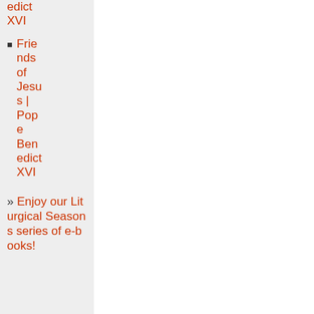edict XVI
Friends of Jesus | Pope Benedict XVI
» Enjoy our Liturgical Seasons series of e-books!